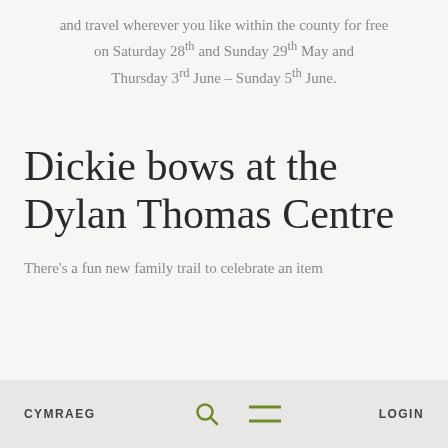and travel wherever you like within the county for free on Saturday 28th and Sunday 29th May and Thursday 3rd June – Sunday 5th June.
Dickie bows at the Dylan Thomas Centre
There's a fun new family trail to celebrate an item
CYMRAEG   [search icon]   [menu icon]   LOGIN